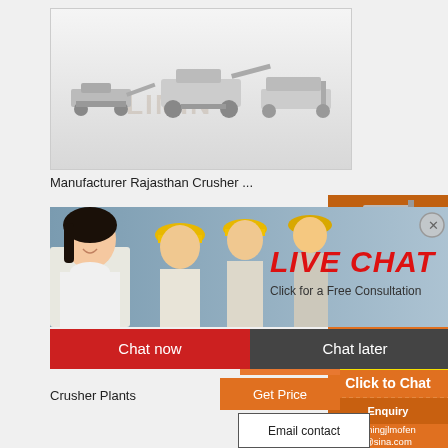[Figure (photo): Mining/crushing machinery equipment on white/grey background with watermark LIMING]
Manufacturer Rajasthan Crusher ...
[Figure (screenshot): Live chat popup with workers in hard hats. Text: LIVE CHAT, Click for a Free Consultation, Chat now, Chat later]
[Figure (photo): Orange sidebar panel with crusher machine images, Enjoy 3% discount, Click to Chat, Enquiry, limingjlmofen@sina.com]
More
Get Price
Email contact
Crusher Plants
For